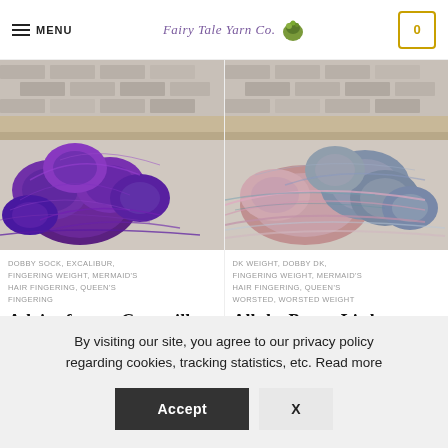MENU | Fairy Tale Yarn Co. | 0
[Figure (photo): Skeins of purple hand-dyed yarn arranged on a wooden surface with brick wall background]
[Figure (photo): Skeins of pink and grey hand-dyed yarn arranged on a wooden surface with brick wall background]
DOBBY SOCK, EXCALIBUR, FINGERING WEIGHT, MERMAID'S HAIR FINGERING, QUEEN'S FINGERING
DK WEIGHT, DOBBY DK, FINGERING WEIGHT, MERMAID'S HAIR FINGERING, QUEEN'S WORSTED, WORSTED WEIGHT
Advice from a Caterpillar
All the Pretty Little
By visiting our site, you agree to our privacy policy regarding cookies, tracking statistics, etc. Read more
Accept  X